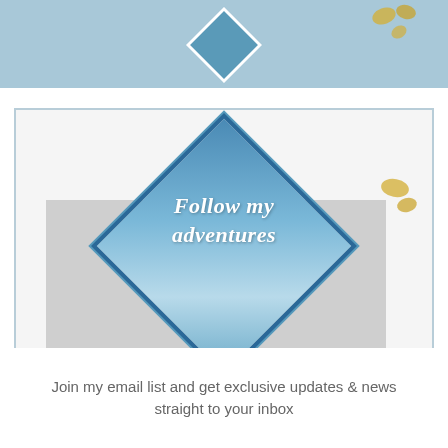[Figure (illustration): Top banner with light blue background, a blue diamond shape with white border in the center, and gold foil splatter decorations in the top right corner]
[Figure (illustration): Card with light grey/white background and blue border containing a large rotated blue diamond shape with watercolor texture, overlapping a grey rectangle. Script text reads 'Follow my adventures' in white. Gold foil decorations scattered around.]
Join my email list and get exclusive updates & news straight to your inbox